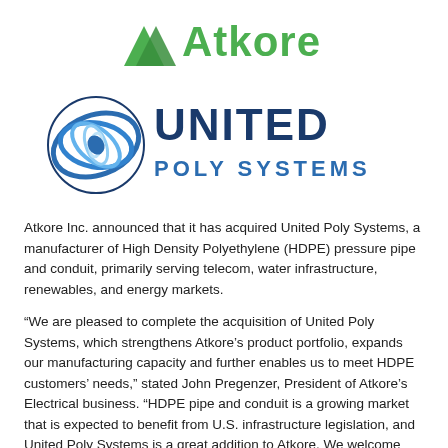[Figure (logo): Atkore logo with green triangle/arrow icon and 'Atkore' wordmark in green]
[Figure (logo): United Poly Systems logo with blue swirl/circle icon and 'UNITED POLY SYSTEMS' wordmark in dark blue]
Atkore Inc. announced that it has acquired United Poly Systems, a manufacturer of High Density Polyethylene (HDPE) pressure pipe and conduit, primarily serving telecom, water infrastructure, renewables, and energy markets.
“We are pleased to complete the acquisition of United Poly Systems, which strengthens Atkore’s product portfolio, expands our manufacturing capacity and further enables us to meet HDPE customers’ needs,” stated John Pregenzer, President of Atkore’s Electrical business. “HDPE pipe and conduit is a growing market that is expected to benefit from U.S. infrastructure legislation, and United Poly Systems is a great addition to Atkore. We welcome these employees and look forward to working together to continue to serve